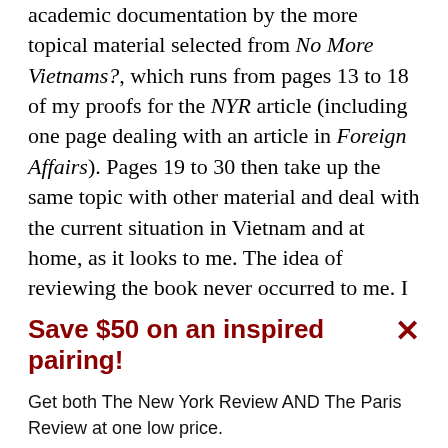academic documentation by the more topical material selected from No More Vietnams?, which runs from pages 13 to 18 of my proofs for the NYR article (including one page dealing with an article in Foreign Affairs). Pages 19 to 30 then take up the same topic with other material and deal with the current situation in Vietnam and at home, as it looks to me. The idea of reviewing the book never occurred to me. I am sorry for the confusion that may have been
Save $50 on an inspired pairing!
Get both The New York Review AND The Paris Review at one low price.
See offer
Already a subscriber?  Sign in